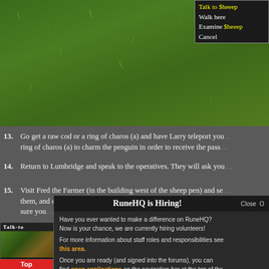[Figure (screenshot): RuneScape game screenshot showing green grassy area with a context menu in the top right showing options: Walk here, Examine $heeep, Cancel]
13. Go get a raw cod or a ring of charos (a) and have Larry teleport you... ring of charos (a) to charm the penguin in order to receive the pass...
14. Return to Lumbridge and speak to the operatives. They will ask you...
15. Visit Fred the Farmer (in the building west of the sheep pen) and se... them, and choose any option. They will then give you a mission rep... sure you...
[Figure (screenshot): Talk-to game interface screenshot showing a character or NPC]
Top
RuneHQ is Hiring! Have you ever wanted to make a difference on RuneHQ? Now is your chance, we are currently hiring volunteers! For more information about staff roles and responsibilities see this area. Once you are ready (and signed into the forums), you can find open applications on the navigation bar at the top of the forums.